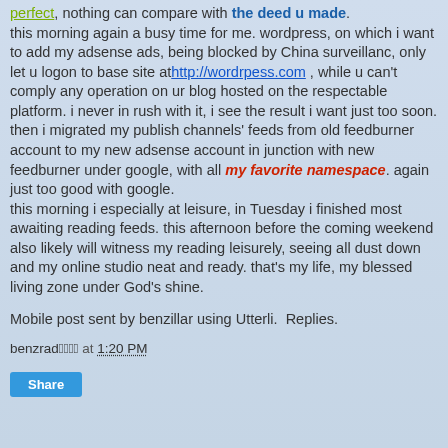perfect, nothing can compare with the deed u made. this morning again a busy time for me. wordpress, on which i want to add my adsense ads, being blocked by China surveillanc, only let u logon to base site athttp://wordrpess.com , while u can't comply any operation on ur blog hosted on the respectable platform. i never in rush with it, i see the result i want just too soon. then i migrated my publish channels' feeds from old feedburner account to my new adsense account in junction with new feedburner under google, with all my favorite namespace. again just too good with google.
this morning i especially at leisure, in Tuesday i finished most awaiting reading feeds. this afternoon before the coming weekend also likely will witness my reading leisurely, seeing all dust down and my online studio neat and ready. that's my life, my blessed living zone under God's shine.
Mobile post sent by benzillar using Utterli.  Replies.
benzrad𒀱𒀱𒀱𒀱 at 1:20 PM
Share